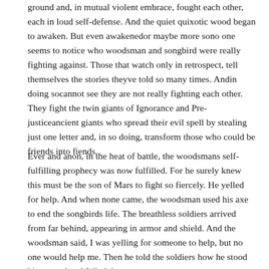ground and, in mutual violent embrace, fought each other, each in loud self-defense. And the quiet quixotic wood began to awaken. But even awakenedor maybe more sono one seems to notice who woodsman and songbird were really fighting against. Those that watch only in retrospect, tell themselves the stories theyve told so many times. Andin doing socannot see they are not really fighting each other. They fight the twin giants of Ignorance and Pre-justiceancient giants who spread their evil spell by stealing just one letter and, in so doing, transform those who could be friends into fiends.
Ever and anon, in the heat of battle, the woodsmans self-fulfilling prophecy was now fulfilled. For he surely knew this must be the son of Mars to fight so fiercely. He yelled for help. And when none came, the woodsman used his axe to end the songbirds life. The breathless soldiers arrived from far behind, appearing in armor and shield. And the woodsman said, I was yelling for someone to help, but no one would help me. Then he told the soldiers how he stood his ground and felled the